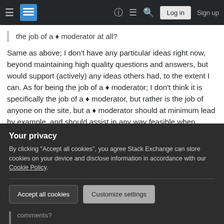Stack Exchange navigation bar with hamburger menu, logo, help, chat, search icons, Log in and Sign up buttons
the job of a ♦ moderator at all?
Same as above; I don't have any particular ideas right now, beyond maintaining high quality questions and answers, but would support (actively) any ideas others had, to the extent I can. As for being the job of a ♦ moderator; I don't think it is specifically the job of a ♦ moderator, but rather is the job of anyone on the site, but a ♦ moderator should at minimum lead by example, and should assist in any way feasible when someone (♦ or not) has an idea.
Your privacy
By clicking "Accept all cookies", you agree Stack Exchange can store cookies on your device and disclose information in accordance with our Cookie Policy.
Accept all cookies
Customize settings
comments?